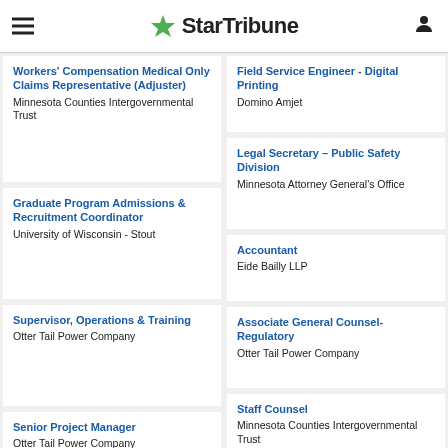StarTribune
Workers' Compensation Medical Only Claims Representative (Adjuster) — Minnesota Counties Intergovernmental Trust
Field Service Engineer - Digital Printing — Domino Amjet
Graduate Program Admissions & Recruitment Coordinator — University of Wisconsin - Stout
Legal Secretary – Public Safety Division — Minnesota Attorney General's Office
Supervisor, Operations & Training — Otter Tail Power Company
Accountant — Eide Bailly LLP
Senior Project Manager — Otter Tail Power Company
Associate General Counsel-Regulatory — Otter Tail Power Company
Staff Counsel — Minnesota Counties Intergovernmental Trust